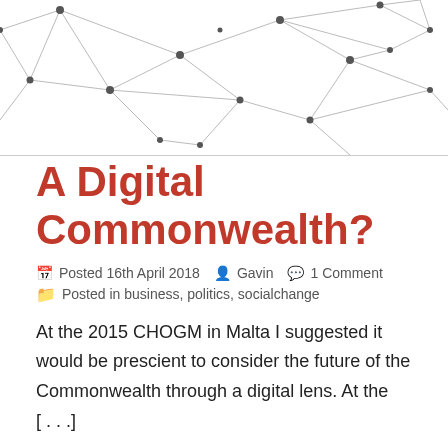[Figure (illustration): Network graph illustration with dark nodes connected by thin gray lines on white background — partial view showing upper portion]
A Digital Commonwealth?
Posted 16th April 2018   Gavin   1 Comment
Posted in business, politics, socialchange
At the 2015 CHOGM in Malta I suggested it would be prescient to consider the future of the Commonwealth through a digital lens. At the [...]